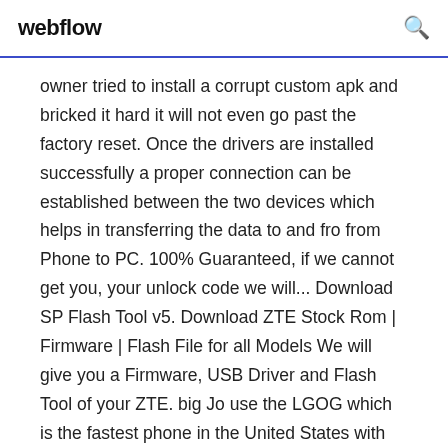webflow
owner tried to install a corrupt custom apk and bricked it hard it will not even go past the factory reset. Once the drivers are installed successfully a proper connection can be established between the two devices which helps in transferring the data to and fro from Phone to PC. 100% Guaranteed, if we cannot get you, your unlock code we will... Download SP Flash Tool v5. Download ZTE Stock Rom | Firmware | Flash File for all Models We will give you a Firmware, USB Driver and Flash Tool of your ZTE. big Jo use the LGOG which is the fastest phone in the United States with S4 pro in... Starting from the Menu, go to Settings >